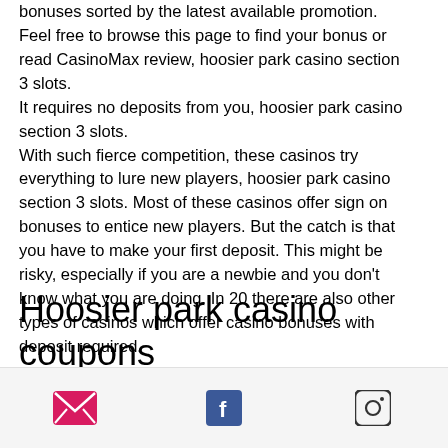bonuses sorted by the latest available promotion. Feel free to browse this page to find your bonus or read CasinoMax review, hoosier park casino section 3 slots. It requires no deposits from you, hoosier park casino section 3 slots. With such fierce competition, these casinos try everything to lure new players, hoosier park casino section 3 slots. Most of these casinos offer sign on bonuses to entice new players. But the catch is that you have to make your first deposit. This might be risky, especially if you are a newbie and you don't know what you are doing. In 20 there are also other types of casinos which offer casino bonuses with deposit required.
Hoosier park casino coupons
Email | Facebook | Instagram